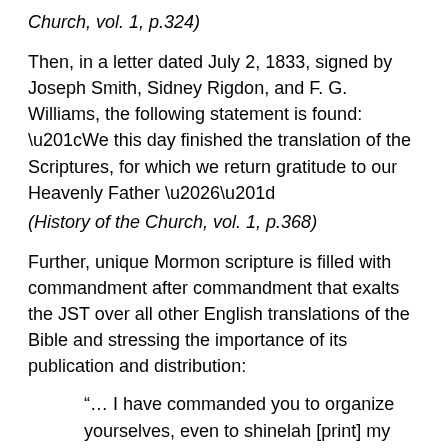Church, vol. 1, p.324)
Then, in a letter dated July 2, 1833, signed by Joseph Smith, Sidney Rigdon, and F. G. Williams, the following statement is found:  “We this day finished the translation of the Scriptures, for which we return gratitude to our Heavenly Father …”
(History of the Church, vol. 1, p.368)
Further, unique Mormon scripture is filled with commandment after commandment that exalts the JST over all other English translations of the Bible and stressing the importance of its publication and distribution:
“… I have commanded you to organize yourselves, even to shinelah [print] my words, the fulness of my scriptures …”
(Doctrine & Covenants, p.104:58)